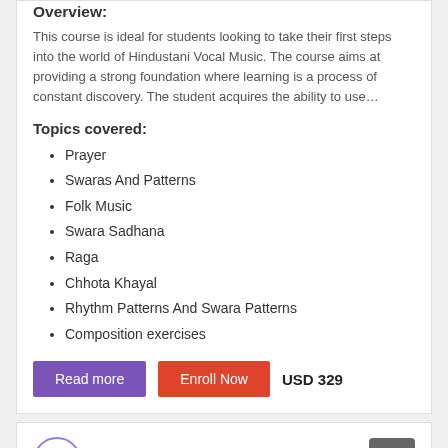Overview:
This course is ideal for students looking to take their first steps into the world of Hindustani Vocal Music. The course aims at providing a strong foundation where learning is a process of constant discovery. The student acquires the ability to use…
Topics covered:
Prayer
Swaras And Patterns
Folk Music
Swara Sadhana
Raga
Chhota Khayal
Rhythm Patterns And Swara Patterns
Composition exercises
Read more | Enroll Now | USD 329
Hindustani Vocal 102